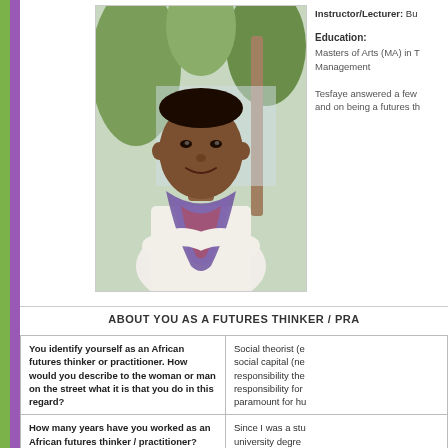[Figure (photo): Portrait photo of a young African man wearing a white shirt and colorful scarf, with palm trees and outdoor setting in background]
Instructor/Lecturer: Bu
Education:
Masters of Arts (MA) in T
Management
Tesfaye answered a few and on being a futures th
ABOUT YOU AS A FUTURES THINKER / PRA
| You identify yourself as an African futures thinker or practitioner. How would you describe to the woman or man on the street what it is that you do in this regard? | Social theorist (e social capital (ne responsibility the responsibility for paramount for hu |
| How many years have you worked as an African futures thinker / practitioner? | Since I was a stu university degre |